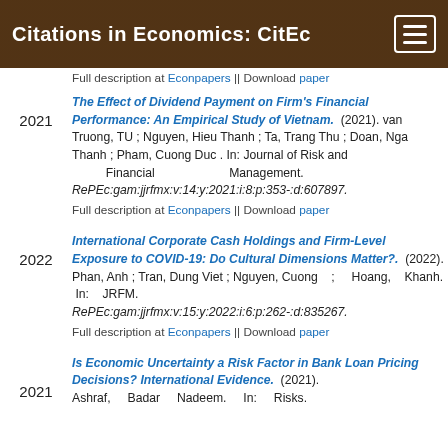Citations in Economics: CitEc
Full description at Econpapers || Download paper
The Effect of Dividend Payment on Firm's Financial Performance: An Empirical Study of Vietnam. (2021). van Truong, TU ; Nguyen, Hieu Thanh ; Ta, Trang Thu ; Doan, Nga Thanh ; Pham, Cuong Duc . In: Journal of Risk and Financial Management. RePEc:gam:jjrfmx:v:14:y:2021:i:8:p:353-:d:607897.
Full description at Econpapers || Download paper
International Corporate Cash Holdings and Firm-Level Exposure to COVID-19: Do Cultural Dimensions Matter?. (2022). Phan, Anh ; Tran, Dung Viet ; Nguyen, Cuong ; Hoang, Khanh. In: JRFM. RePEc:gam:jjrfmx:v:15:y:2022:i:6:p:262-:d:835267.
Full description at Econpapers || Download paper
Is Economic Uncertainty a Risk Factor in Bank Loan Pricing Decisions? International Evidence. (2021). Ashraf, Badar Nadeem. In: Risks.